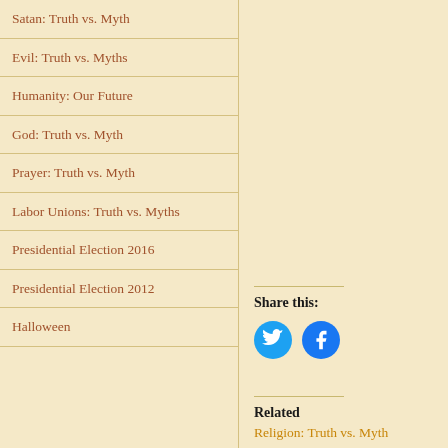Satan: Truth vs. Myth
Evil: Truth vs. Myths
Humanity: Our Future
God: Truth vs. Myth
Prayer: Truth vs. Myth
Labor Unions: Truth vs. Myths
Presidential Election 2016
Presidential Election 2012
Halloween
Share this:
[Figure (illustration): Twitter and Facebook social share icon buttons (blue circles with white bird and f icons)]
Related
Religion: Truth vs. Myth